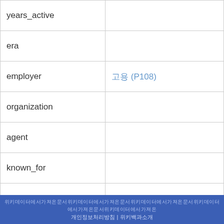| property | mapping |
| --- | --- |
| years_active |  |
| era |  |
| employer | 고용 (P108) |
| organization |  |
| agent |  |
| known_for |  |
| notable_works | 주목할만한 (P800) |
| style | 장르 (P136) |
| home_town |  |
| salary |  |
| net_worth |  |
| height |  |
위키데이터에서 가져온 문서 | 개인정보처리방침 | 위키백과 소개